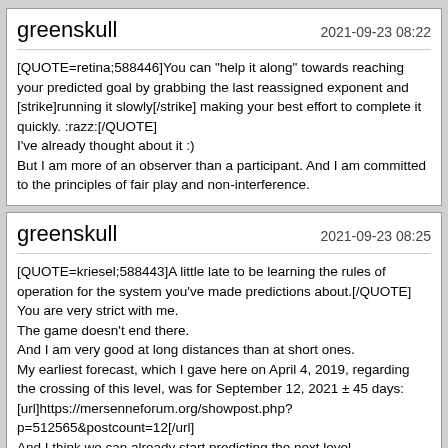greenskull   2021-09-23 08:22
[QUOTE=retina;588446]You can "help it along" towards reaching your predicted goal by grabbing the last reassigned exponent and [strike]running it slowly[/strike] making your best effort to complete it quickly. :razz:[/QUOTE]
I've already thought about it :)
But I am more of an observer than a participant. And I am committed to the principles of fair play and non-interference.
greenskull   2021-09-23 08:25
[QUOTE=kriesel;588443]A little late to be learning the rules of operation for the system you've made predictions about.[/QUOTE]
You are very strict with me.
The game doesn't end there.

And I am very good at long distances than at short ones.
My earliest forecast, which I gave here on April 4, 2019, regarding the crossing of this level, was for September 12, 2021 ± 45 days:
[url]https://mersenneforum.org/showpost.php?p=512565&postcount=12[/url]

And I think we can already start predicting the next level.
I suggested the method of scoring for predictions above:
[url]https://www.mersenneforum.org/showpost.php?